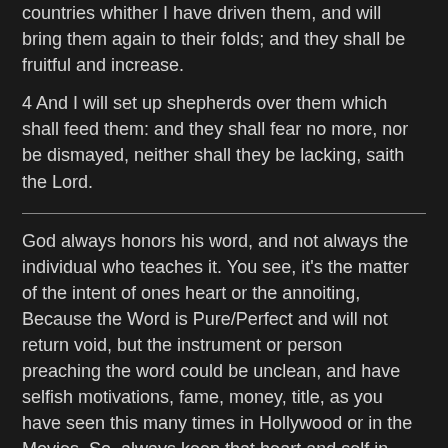countries whither I have driven them, and will bring them again to their folds; and they shall be fruitful and increase.
4 And I will set up shepherds over them which shall feed them: and they shall fear no more, nor be dismayed, neither shall they be lacking, saith the Lord.
God always honors his word, and not always the individual who teaches it. You see, it's the matter of the intent of ones heart or the annoiting, Because the Word is Pure/Perfect and will not return void, but the instrument or person preaching the word could be unclean, and have selfish motivations, fame, money, title, as you have seen this many times in Hollywood or in the Movies. So, always keep that heart and self in check with God. We all must maintain ourselves, with the power of the Holy Spirit it is possible. We all have dreams and inspirations………….
29 Is not my word like as a fire? saith the Lord: and